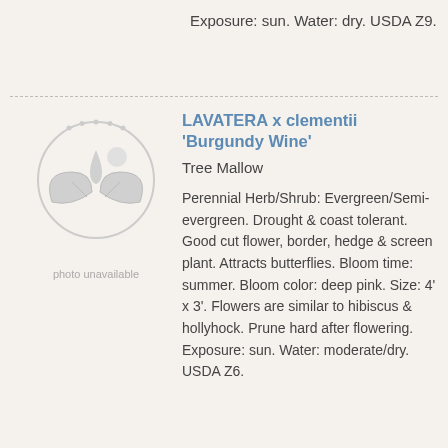Exposure: sun. Water: dry. USDA Z9.
[Figure (illustration): Placeholder image with circular plant/water drop icon and text 'photo unavailable']
LAVATERA x clementii 'Burgundy Wine'
Tree Mallow
Perennial Herb/Shrub: Evergreen/Semi-evergreen. Drought & coast tolerant. Good cut flower, border, hedge & screen plant. Attracts butterflies. Bloom time: summer. Bloom color: deep pink. Size: 4' x 3'. Flowers are similar to hibiscus & hollyhock. Prune hard after flowering. Exposure: sun. Water: moderate/dry. USDA Z6.